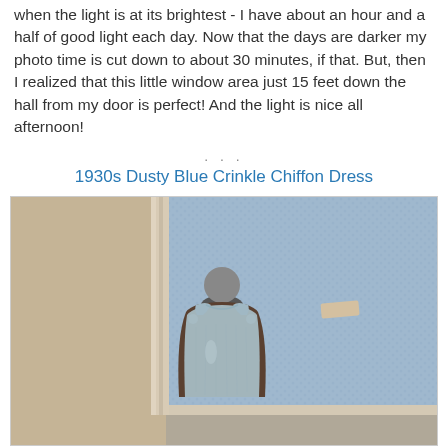when the light is at its brightest - I have about an hour and a half of good light each day. Now that the days are darker my photo time is cut down to about 30 minutes, if that. But, then I realized that this little window area just 15 feet down the hall from my door is perfect! And the light is nice all afternoon!
. . .
1930s Dusty Blue Crinkle Chiffon Dress
[Figure (photo): A dusty blue sleeveless dress displayed on a dark dress form/mannequin. The background shows a beige wall on the left and a textured blue-grey fabric or wall covering on the right. The dress appears to be a 1930s style crinkle chiffon garment.]